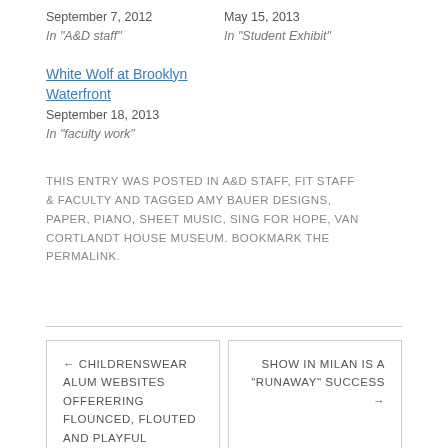September 7, 2012
In "A&D staff"
May 15, 2013
In "Student Exhibit"
White Wolf at Brooklyn Waterfront
September 18, 2013
In "faculty work"
THIS ENTRY WAS POSTED IN A&D STAFF, FIT STAFF & FACULTY AND TAGGED AMY BAUER DESIGNS, PAPER, PIANO, SHEET MUSIC, SING FOR HOPE, VAN CORTLANDT HOUSE MUSEUM. BOOKMARK THE PERMALINK.
← CHILDRENSWEAR ALUM WEBSITES OFFERERING FLOUNCED, FLOUTED AND PLAYFUL
SHOW IN MILAN IS A "RUNAWAY" SUCCESS →